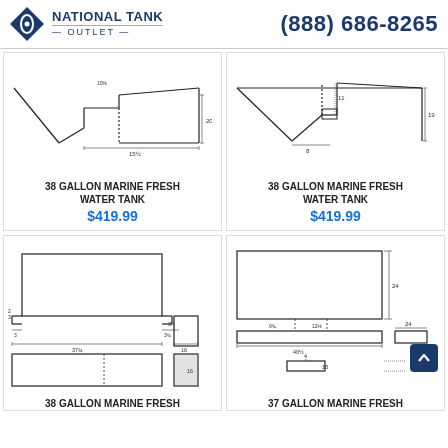NATIONAL TANK OUTLET | (888) 686-8265
[Figure (engineering-diagram): 38 gallon marine fresh water tank technical drawing - angled V-shaped bottom profile, dimensions 15½ width, 20⅜ height shown]
38 GALLON MARINE FRESH WATER TANK
$419.99
[Figure (engineering-diagram): 38 gallon marine fresh water tank technical drawing - angled V-shaped bottom profile alternate view, dimensions 8, 11, 19 shown]
38 GALLON MARINE FRESH WATER TANK
$419.99
[Figure (engineering-diagram): 38 gallon marine fresh water tank technical drawing - rectangular top and bottom views with dimensions: 37¾ length, 3 widths, 3½ heights, 16 dimensions shown]
38 GALLON MARINE FRESH WATER
[Figure (engineering-diagram): 37 gallon marine fresh water tank technical drawing - rectangular top and bottom views with dimensions: 40½ length, 24 height, 9¾, 12⅛, 24 widths, 4, 18 heights shown]
37 GALLON MARINE FRESH